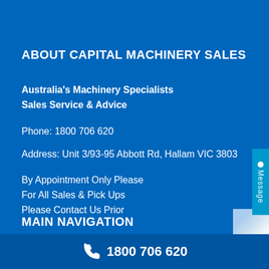ABOUT CAPITAL MACHINERY SALES
Australia's Machinery Specialists
Sales Service & Advice
Phone: 1800 706 620
Address: Unit 3/93-95 Abbott Rd, Hallam VIC 3803
By Appointment Only Please
For All Sales & Pick Ups
Please Contact Us Prior
MAIN NAVIGATION
About Us
1800 706 620